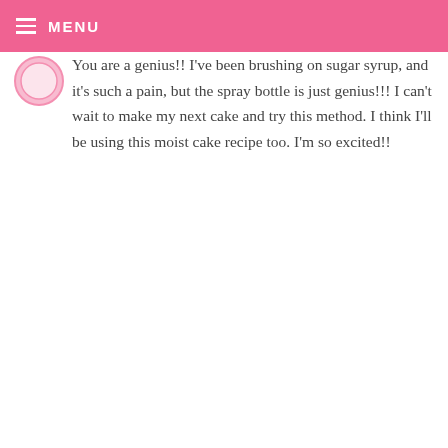MENU
You are a genius!! I've been brushing on sugar syrup, and it's such a pain, but the spray bottle is just genius!!! I can't wait to make my next cake and try this method. I think I'll be using this moist cake recipe too. I'm so excited!!
RAQUEL — NOVEMBER 16, 2008 @ 1:57 AM REPLY
I tried this, so nice, flufly and yumiiii!!